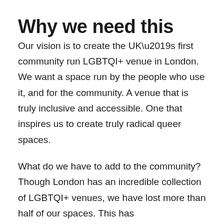Why we need this
Our vision is to create the UK’s first community run LGBTQI+ venue in London. We want a space run by the people who use it, and for the community. A venue that is truly inclusive and accessible. One that inspires us to create truly radical queer spaces.
What do we have to add to the community? Though London has an incredible collection of LGBTQI+ venues, we have lost more than half of our spaces. This has disproportionately